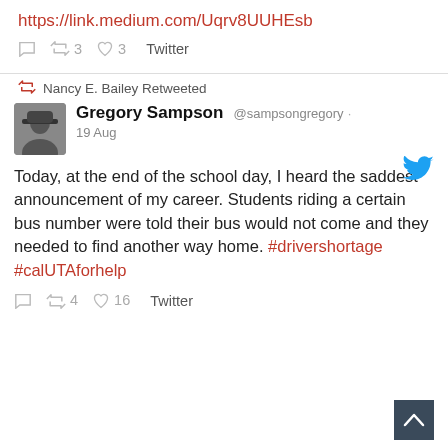https://link.medium.com/Uqrv8UUHEsb
3  3  Twitter
Nancy E. Bailey Retweeted
Gregory Sampson @sampsongregory · 19 Aug
Today, at the end of the school day, I heard the saddest announcement of my career. Students riding a certain bus number were told their bus would not come and they needed to find another way home. #drivershortage #calUTAforhelp
4  16  Twitter